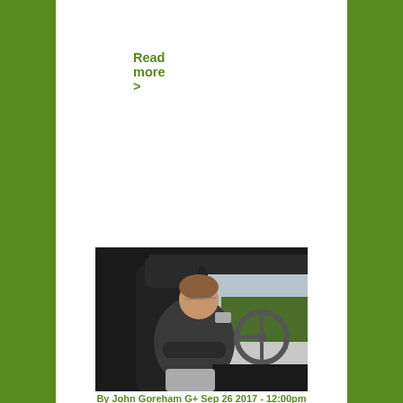Read more >
[Figure (photo): A person sitting in the driver's seat of a car, leaning back with arms crossed, viewed from inside the vehicle. The car interior shows a steering wheel and dashboard. Outside the window is a road and trees.]
By John Goreham G+ Sep 26 2017 - 12:00pm